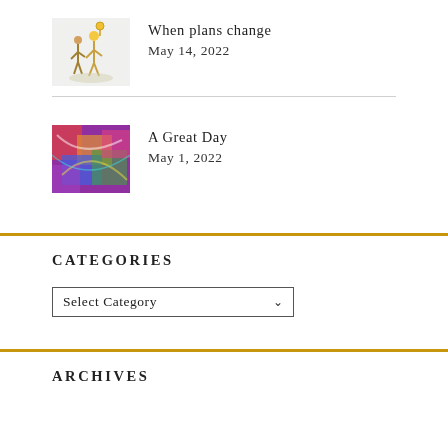When plans change — May 14, 2022
A Great Day — May 1, 2022
CATEGORIES
Select Category
ARCHIVES